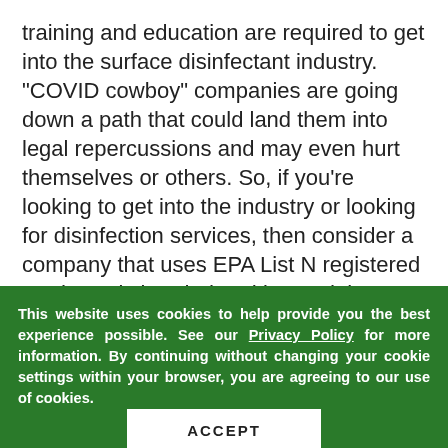training and education are required to get into the surface disinfectant industry. "COVID cowboy" companies are going down a path that could land them into legal repercussions and may even hurt themselves or others. So, if you're looking to get into the industry or looking for disinfection services, then consider a company that uses EPA List N registered products, is bonded and insured, knows what they're doing, and has all the training and support they need from a board of scientific advisors.
[Figure (other): Green banner with bold italic white uppercase text 'WHAT GETS' partially visible]
This website uses cookies to help provide you the best experience possible. See our Privacy Policy for more information. By continuing without changing your cookie settings within your browser, you are agreeing to our use of cookies.
ACCEPT